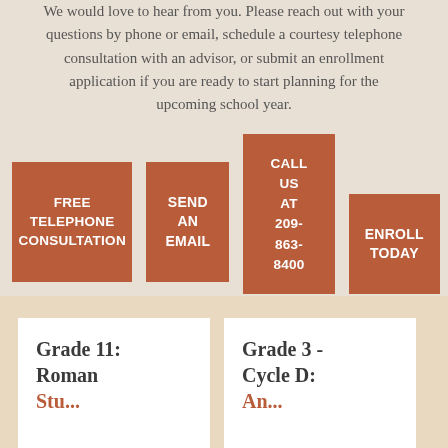We would love to hear from you. Please reach out with your questions by phone or email, schedule a courtesy telephone consultation with an advisor, or submit an enrollment application if you are ready to start planning for the upcoming school year.
[Figure (infographic): Four terracotta/rust-colored call-to-action buttons: FREE TELEPHONE CONSULTATION, SEND AN EMAIL, CALL US AT 209-863-8400 (taller), ENROLL TODAY]
Grade 11: Roman
Grade 3 - Cycle D: